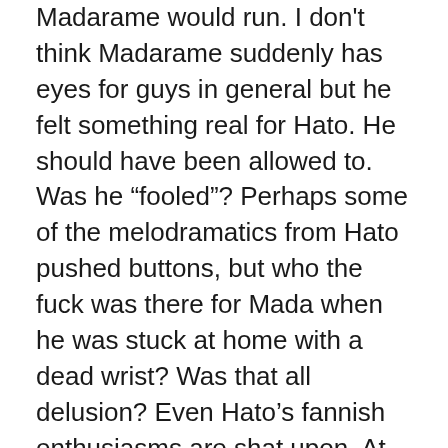Madarame would run. I don't think Madarame suddenly has eyes for guys in general but he felt something real for Hato. He should have been allowed to. Was he “fooled”? Perhaps some of the melodramatics from Hato pushed buttons, but who the fuck was there for Mada when he was stuck at home with a dead wrist? Was that all delusion? Even Hato’s fannish enthusiasms are shat upon. At least I tried in my stupid thing above to value them. How can they even ever face each other again?
We didn’t hear enough from Hato in male mode.We never found out what the two talked about when they continued their “date”. Ogiue was ineffective. Ohno was out of range – no fairy godmother help this time. Sue folded like a house of cards. The entire club was drunked up and then scared shitless of what they had done. This fails the Genshiken, fails the general readers, fails the readers who